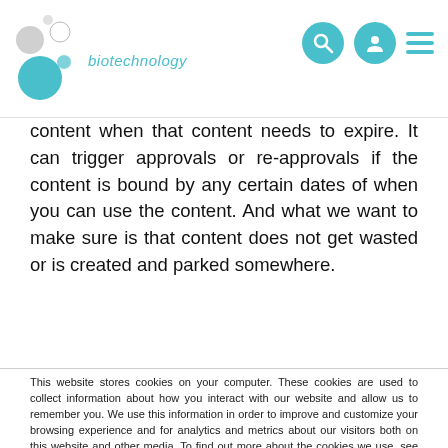biotechnology
content when that content needs to expire. It can trigger approvals or re-approvals if the content is bound by any certain dates of when you can use the content. And what we want to make sure is that content does not get wasted or is created and parked somewhere.
This website stores cookies on your computer. These cookies are used to collect information about how you interact with our website and allow us to remember you. We use this information in order to improve and customize your browsing experience and for analytics and metrics about our visitors both on this website and other media. To find out more about the cookies we use, see our Privacy Policy.
If you decline, your information won't be tracked when you visit this website. A single cookie will be used in your browser to remember your preference not to be tracked.
Accept   Decline